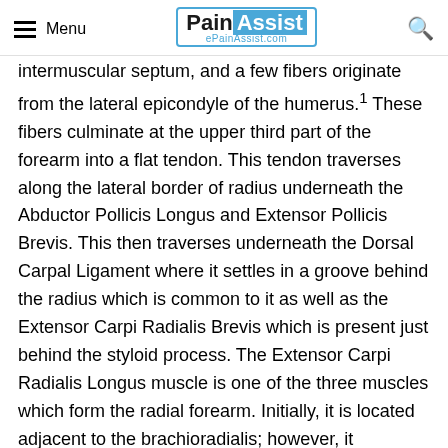Menu | PainAssist ePainAssist.com
intermuscular septum, and a few fibers originate from the lateral epicondyle of the humerus.1 These fibers culminate at the upper third part of the forearm into a flat tendon. This tendon traverses along the lateral border of radius underneath the Abductor Pollicis Longus and Extensor Pollicis Brevis. This then traverses underneath the Dorsal Carpal Ligament where it settles in a groove behind the radius which is common to it as well as the Extensor Carpi Radialis Brevis which is present just behind the styloid process. The Extensor Carpi Radialis Longus muscle is one of the three muscles which form the radial forearm. Initially, it is located adjacent to the brachioradialis; however, it